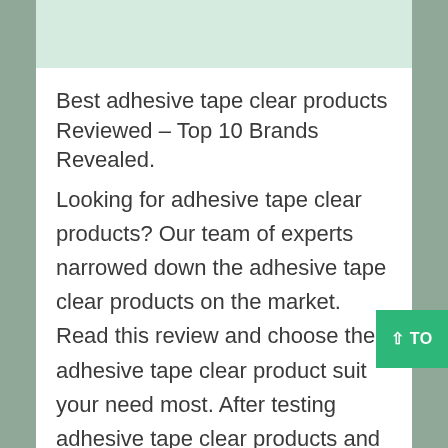Best adhesive tape clear products Reviewed – Top 10 Brands Revealed.
Looking for adhesive tape clear products? Our team of experts narrowed down the adhesive tape clear products on the market. Read this review and choose the adhesive tape clear product suit your need most. After testing adhesive tape clear products and long-term testing our existing picks, we